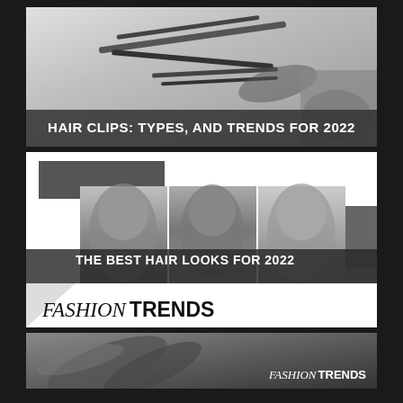[Figure (photo): Black and white photo of hair clips and styling tools on a light background with dark title overlay reading HAIR CLIPS: TYPES, AND TRENDS FOR 2022]
HAIR CLIPS: TYPES, AND TRENDS FOR 2022
[Figure (photo): Composite fashion image with three black and white photos of women with styled hair, dark overlay text THE BEST HAIR LOOKS FOR 2022, and FASHION TRENDS branding at the bottom]
THE BEST HAIR LOOKS FOR 2022
FASHION TRENDS
[Figure (photo): Partial black and white photo at bottom with FASHION TRENDS badge/logo in lower right corner]
FASHION TRENDS